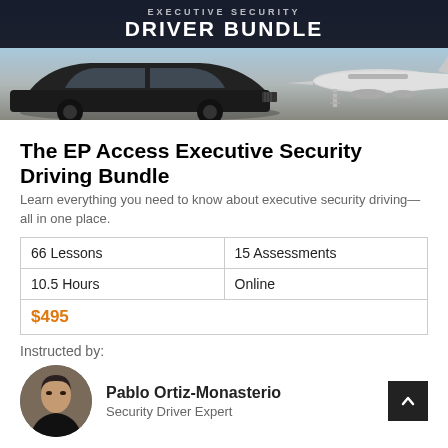[Figure (photo): Banner image showing a black luxury sedan and a private jet on a tarmac, with a dark overlay header reading EXECUTIVE SECURITY DRIVER BUNDLE in white bold text]
The EP Access Executive Security Driving Bundle
Learn everything you need to know about executive security driving—all in one place.
| 66 Lessons | 15 Assessments |
| 10.5 Hours | Online |
| $495 |  |
Instructed by:
[Figure (photo): Circular headshot portrait of Pablo Ortiz-Monasterio, a man with dark hair]
Pablo Ortiz-Monasterio
Security Driver Expert